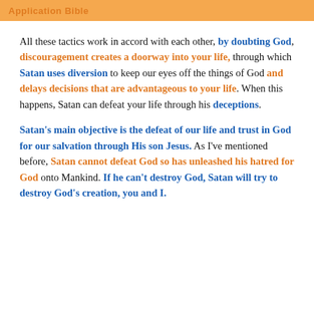Application Bible
All these tactics work in accord with each other, by doubting God, discouragement creates a doorway into your life, through which Satan uses diversion to keep our eyes off the things of God and delays decisions that are advantageous to your life. When this happens, Satan can defeat your life through his deceptions.
Satan's main objective is the defeat of our life and trust in God for our salvation through His son Jesus. As I've mentioned before, Satan cannot defeat God so has unleashed his hatred for God onto Mankind. If he can't destroy God, Satan will try to destroy God's creation, you and I.